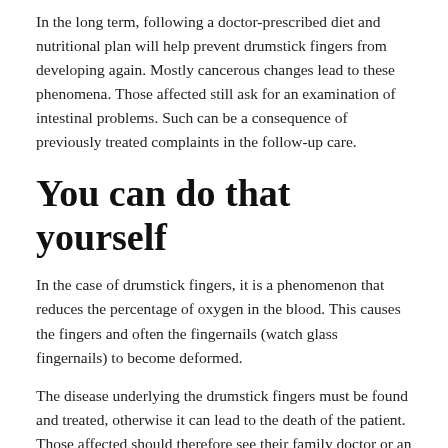In the long term, following a doctor-prescribed diet and nutritional plan will help prevent drumstick fingers from developing again. Mostly cancerous changes lead to these phenomena. Those affected still ask for an examination of intestinal problems. Such can be a consequence of previously treated complaints in the follow-up care.
You can do that yourself
In the case of drumstick fingers, it is a phenomenon that reduces the percentage of oxygen in the blood. This causes the fingers and often the fingernails (watch glass fingernails) to become deformed.
The disease underlying the drumstick fingers must be found and treated, otherwise it can lead to the death of the patient. Those affected should therefore see their family doctor or an internist as soon as possible. If the underlying disease is cured or at least alleviated, the drumstick fingers symptom also improves.
The drumstick fingers may be causing pain. Nocturnal pain gel applications have proven effective in treating them. To do this,